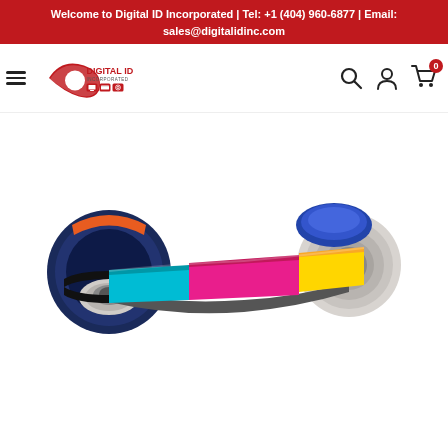Welcome to Digital ID Incorporated | Tel: +1 (404) 960-6877 | Email: sales@digitalidinc.com
[Figure (logo): Digital ID Incorporated logo with red swoosh and icons for card, ID, fingerprint]
[Figure (photo): CMYK color printer ribbon on spools, showing cyan, magenta, and yellow color bands unrolled between two plastic spool cores]